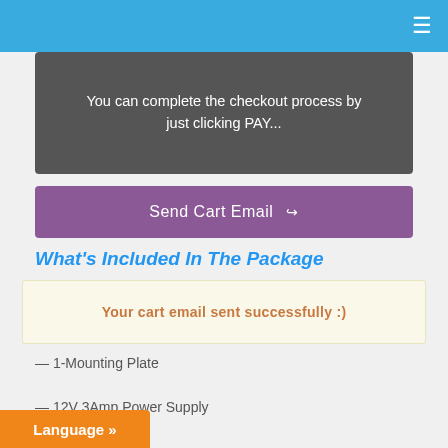≡
You can complete the checkout process by just clicking PAY...
Send Cart Email
What's Included In The Package
Your cart email sent successfully :)
— 1-Mounting Plate
— 12V 3Amp Power Supply
— Device Screws
— Instructions
Language »